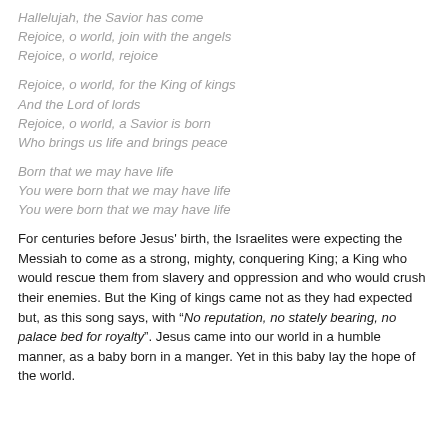Hallelujah, the Savior has come
Rejoice, o world, join with the angels
Rejoice, o world, rejoice
Rejoice, o world, for the King of kings
And the Lord of lords
Rejoice, o world, a Savior is born
Who brings us life and brings peace
Born that we may have life
You were born that we may have life
You were born that we may have life
For centuries before Jesus' birth, the Israelites were expecting the Messiah to come as a strong, mighty, conquering King; a King who would rescue them from slavery and oppression and who would crush their enemies. But the King of kings came not as they had expected but, as this song says, with “No reputation, no stately bearing, no palace bed for royalty”. Jesus came into our world in a humble manner, as a baby born in a manger. Yet in this baby lay the hope of the world.